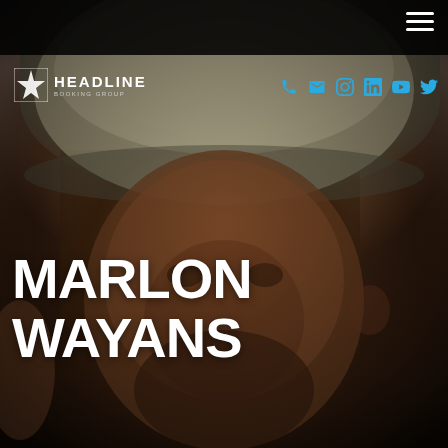[Figure (photo): Close-up photo of Marlon Wayans wearing a tweed flat cap, looking at the camera, dark background]
Headline Booking Group — navigation bar with hamburger menu and social icons (phone, email, Instagram, LinkedIn, YouTube, Twitter)
MARLON WAYANS